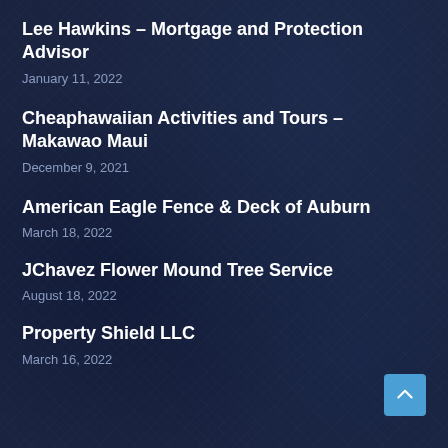Lee Hawkins – Mortgage and Protection Advisor
January 11, 2022
Cheaphawaiian Activities and Tours – Makawao Maui
December 9, 2021
American Eagle Fence & Deck of Auburn
March 18, 2022
JChavez Flower Mound Tree Service
August 18, 2022
Property Shield LLC
March 16, 2022